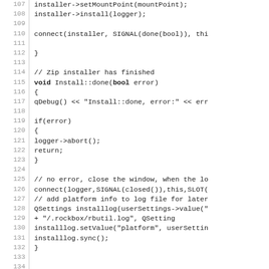[Figure (screenshot): Source code listing in C++ showing lines 107-136 of an installer routine. Lines include installer->setMountPoint, installer->install, connect signals, Install::done function, error handling with logger->abort and return, connect logger closed signal, QSettings installlog, installlog.setValue, installlog.sync, and void Install::setDetailsCurrent function signature.]